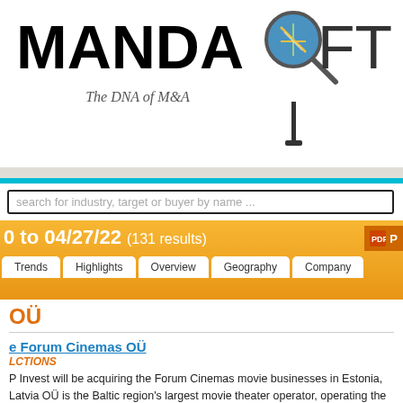[Figure (logo): Mandasoft logo with magnifying glass graphic and tagline 'The DNA of M&A']
search for industry, target or buyer by name ...
0 to 04/27/22 (131 results)
Trends  Highlights  Overview  Geography  Company
Forum Cinemas OÜ
e Forum Cinemas OÜ
LCTIONS
P Invest will be acquiring the Forum Cinemas movie businesses in Estonia, Latvia OÜ is the Baltic region's largest movie theater operator, operating the Coca-Cola and Centrum in Viljandi. Forum Cinemas has a single theater in Latvia and five in
target parent  Dalian Wanda Group Co., Ltd.